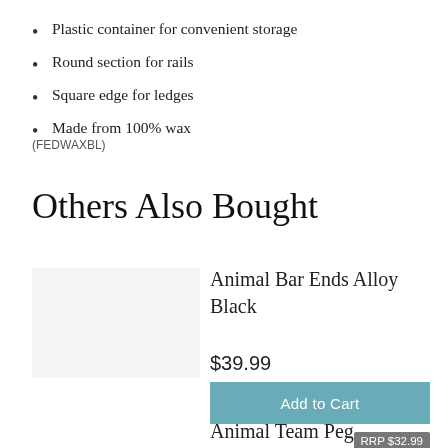Plastic container for convenient storage
Round section for rails
Square edge for ledges
Made from 100% wax
(FEDWAXBL)
Others Also Bought
Animal Bar Ends Alloy Black
$39.99
Add to Cart
RRP $32.99
Animal Team Peg